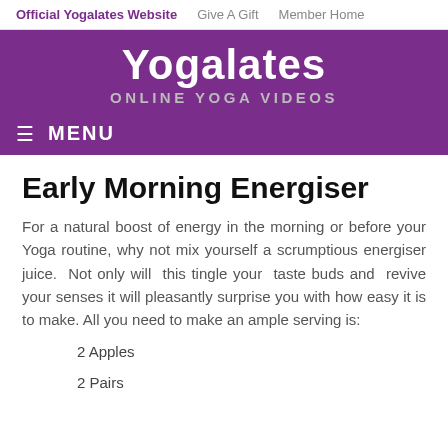Official Yogalates Website   Give A Gift   Member Home
[Figure (logo): Yogalates logo with white bold text 'Yogalates' and subtitle 'ONLINE YOGA VIDEOS' on purple banner background, with hamburger menu icon and MENU text below]
Early Morning Energiser
For a natural boost of energy in the morning or before your Yoga routine, why not mix yourself a scrumptious energiser juice. Not only will this tingle your taste buds and revive your senses it will pleasantly surprise you with how easy it is to make. All you need to make an ample serving is:
2 Apples
2 Pairs